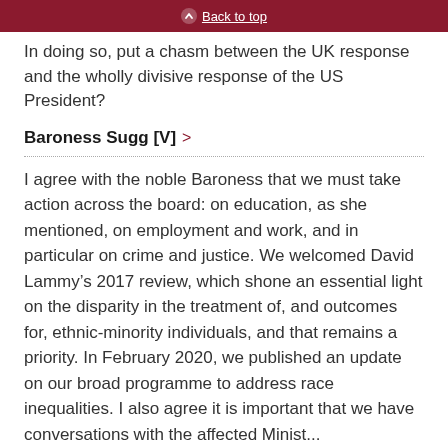Back to top
In doing so, put a chasm between the UK response and the wholly divisive response of the US President?
Baroness Sugg [V] >
I agree with the noble Baroness that we must take action across the board: on education, as she mentioned, on employment and work, and in particular on crime and justice. We welcomed David Lammy’s 2017 review, which shone an essential light on the disparity in the treatment of, and outcomes for, ethnic-minority individuals, and that remains a priority. In February 2020, we published an update on our broad programme to address race inequalities. I also agree it is important that we have conversations with those affected. Minist...